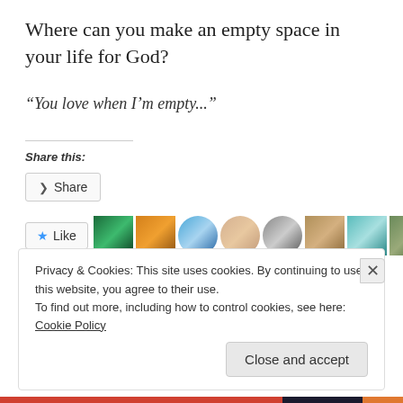Where can you make an empty space in your life for God?
“You love when I’m empty...”
Share this:
[Figure (screenshot): Share button UI element with share icon]
[Figure (screenshot): Like button with star icon and 9 avatar thumbnails of bloggers]
13 bloggers like this.
Privacy & Cookies: This site uses cookies. By continuing to use this website, you agree to their use.
To find out more, including how to control cookies, see here: Cookie Policy
Close and accept